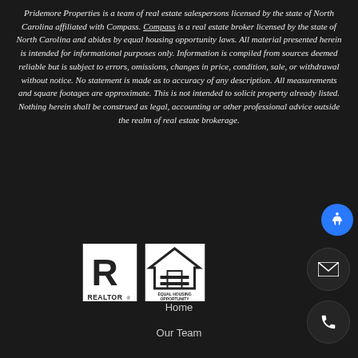Pridemore Properties is a team of real estate salespersons licensed by the state of North Carolina affiliated with Compass. Compass is a real estate broker licensed by the state of North Carolina and abides by equal housing opportunity laws. All material presented herein is intended for informational purposes only. Information is compiled from sources deemed reliable but is subject to errors, omissions, changes in price, condition, sale, or withdrawal without notice. No statement is made as to accuracy of any description. All measurements and square footages are approximate. This is not intended to solicit property already listed. Nothing herein shall be construed as legal, accounting or other professional advice outside the realm of real estate brokerage.
[Figure (logo): REALTOR logo and Equal Housing Opportunity logo side by side]
Home
Our Team